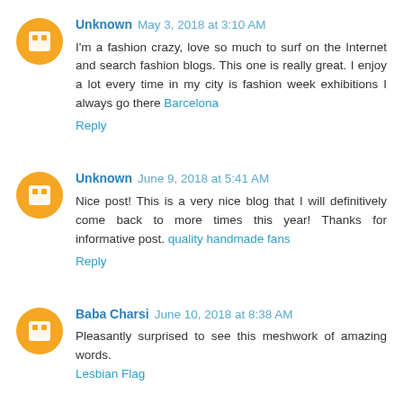Unknown May 3, 2018 at 3:10 AM
I'm a fashion crazy, love so much to surf on the Internet and search fashion blogs. This one is really great. I enjoy a lot every time in my city is fashion week exhibitions I always go there Barcelona
Reply
Unknown June 9, 2018 at 5:41 AM
Nice post! This is a very nice blog that I will definitively come back to more times this year! Thanks for informative post. quality handmade fans
Reply
Baba Charsi June 10, 2018 at 8:38 AM
Pleasantly surprised to see this meshwork of amazing words. Lesbian Flag